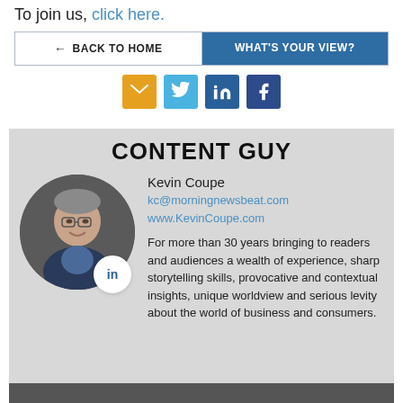To join us, click here.
BACK TO HOME | WHAT'S YOUR VIEW?
[Figure (infographic): Social media share icons: email (orange), Twitter (blue), LinkedIn (dark blue), Facebook (dark blue)]
CONTENT GUY
[Figure (photo): Circular headshot photo of Kevin Coupe, a middle-aged man with glasses and grey hair, smiling. LinkedIn badge overlaid at bottom right.]
Kevin Coupe
kc@morningnewsbeat.com
www.KevinCoupe.com

For more than 30 years bringing to readers and audiences a wealth of experience, sharp storytelling skills, provocative and contextual insights, unique worldview and serious levity about the world of business and consumers.